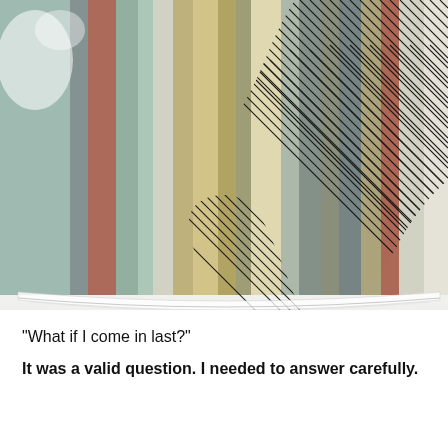[Figure (illustration): Abstract illustration showing vertical stripes of muted colors (teal, green, rust/red, olive/gold, gray) with hatched black diagonal lines forming a large silhouette shape overlaid on the striped background, resembling a stylized figure or bird. The image has a painterly, textured quality.]
“What if I come in last?”
It was a valid question. I needed to answer carefully.